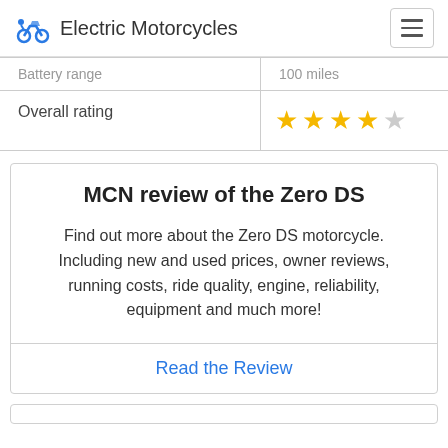Electric Motorcycles
| Battery range | 100 miles |
| Overall rating | ★★★★☆ |
MCN review of the Zero DS
Find out more about the Zero DS motorcycle. Including new and used prices, owner reviews, running costs, ride quality, engine, reliability, equipment and much more!
Read the Review